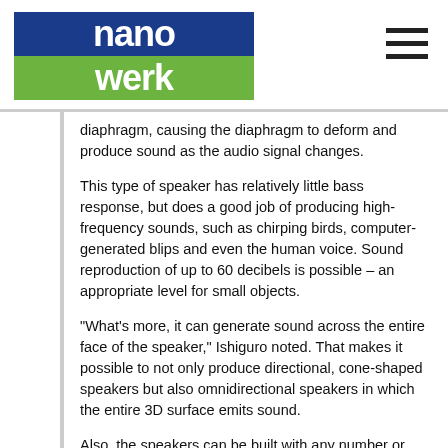nanowerk
diaphragm, causing the diaphragm to deform and produce sound as the audio signal changes.
This type of speaker has relatively little bass response, but does a good job of producing high-frequency sounds, such as chirping birds, computer-generated blips and even the human voice. Sound reproduction of up to 60 decibels is possible – an appropriate level for small objects.
"What's more, it can generate sound across the entire face of the speaker," Ishiguro noted. That makes it possible to not only produce directional, cone-shaped speakers but also omnidirectional speakers in which the entire 3D surface emits sound.
Also, the speakers can be built with any number or configuration of electrodes; placing multiple electrodes in a curved speaker, for instance, makes it possible to vary the direction of the sound emitted.